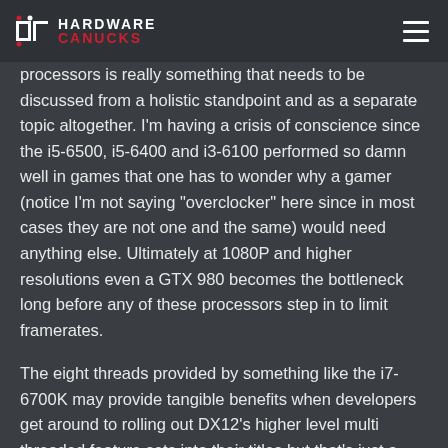HARDWARE CANUCKS
processors is really something that needs to be discussed from a holistic standpoint and as a separate topic altogether. I'm having a crisis of conscience since the i5-6500, i5-6400 and i3-6100 performed so damn well in games that one has to wonder why a gamer (notice I'm not saying "overclocker" here since in most cases they are not one and the same) would need anything else. Ultimately at 1080P and higher resolutions even a GTX 980 becomes the bottleneck long before any of these processors step in to limit framerates.
The eight threads provided by something like the i7-6700K may provide tangible benefits when developers get around to rolling out DX12's higher level multi threaded feature sets into their titles but that's just a hypothetical situation right now. In reality few games take advantage of more than two simultaneous threads